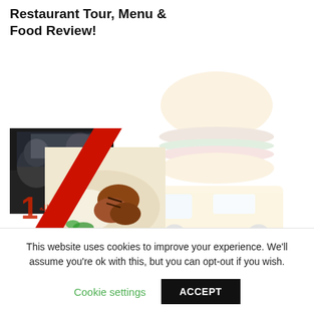Restaurant Tour, Menu & Food Review!
[Figure (photo): Composite photo showing two men in a car and a plate of grilled meat/rice, with a red diagonal stripe graphic element and a restaurant number badge. A faded food truck watermark logo visible in background.]
#1 Tipoo, Nottingham 1/2 –
This website uses cookies to improve your experience. We'll assume you're ok with this, but you can opt-out if you wish.
Cookie settings   ACCEPT